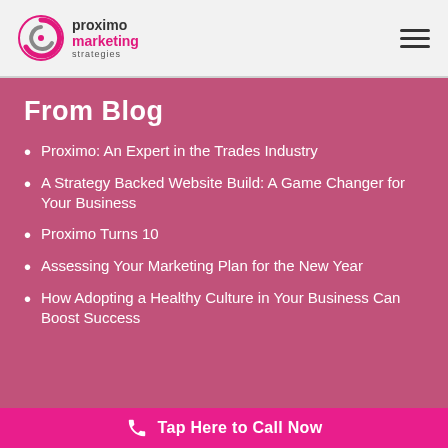Proximo Marketing Strategies
From Blog
Proximo: An Expert in the Trades Industry
A Strategy Backed Website Build: A Game Changer for Your Business
Proximo Turns 10
Assessing Your Marketing Plan for the New Year
How Adopting a Healthy Culture in Your Business Can Boost Success
Tap Here to Call Now